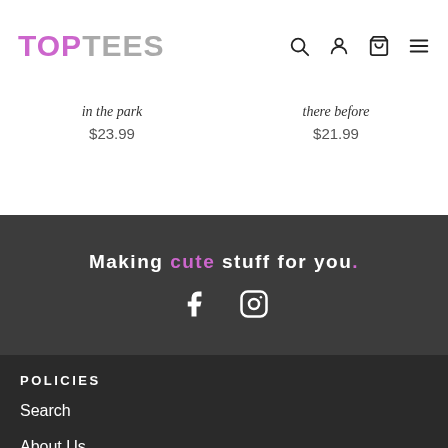TOP TEES
in the park $23.99
there before $21.99
Making cute stuff for you.
POLICIES
Search
About Us